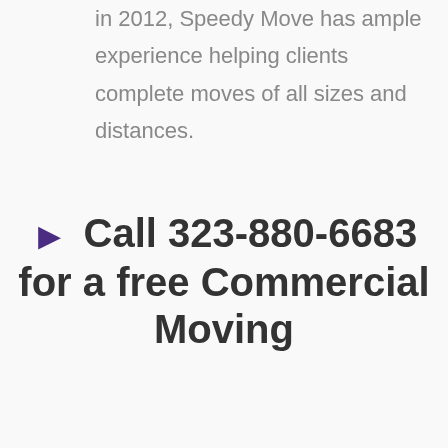in 2012, Speedy Move has ample experience helping clients complete moves of all sizes and distances.
▶ Call 323-880-6683 for a free Commercial Moving